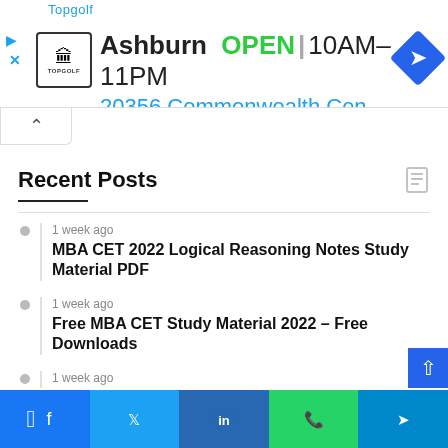[Figure (screenshot): Topgolf Ashburn advertisement banner showing logo, OPEN status, hours 10AM-11PM, address 20356 Commonwealth Cen, and navigation arrow icon]
Recent Posts
1 week ago
MBA CET 2022 Logical Reasoning Notes Study Material PDF
1 week ago
Free MBA CET Study Material 2022 – Free Downloads
1 week ago